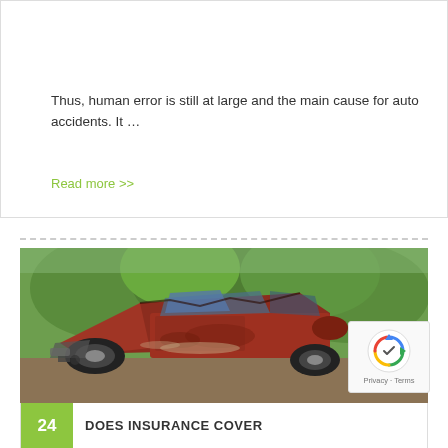[Figure (other): Hamburger menu icon (three horizontal lines) in top-right corner]
Thus, human error is still at large and the main cause for auto accidents. It …
Read more >>
[Figure (photo): A heavily damaged red car after a collision, with crushed front end and deployed roof, surrounded by green trees in the background]
[Figure (other): reCAPTCHA badge with Google logo and Privacy - Terms text]
24
DOES INSURANCE COVER